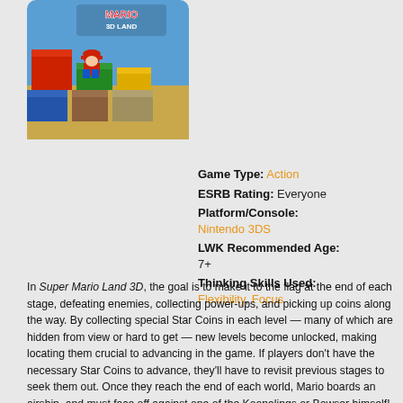[Figure (photo): Super Mario 3D Land game cover art showing colorful 3D blocks and Mario characters]
Game Type: Action
ESRB Rating: Everyone
Platform/Console: Nintendo 3DS
LWK Recommended Age: 7+
Thinking Skills Used: Flexibility, Focus
In Super Mario Land 3D, the goal is to make it to the flag at the end of each stage, defeating enemies, collecting power-ups, and picking up coins along the way. By collecting special Star Coins in each level — many of which are hidden from view or hard to get — new levels become unlocked, making locating them crucial to advancing in the game. If players don't have the necessary Star Coins to advance, they'll have to revisit previous stages to seek them out. Once they reach the end of each world, Mario boards an airship, and must face off against one of the Koopalings or Bowser himself! Super Mario 3D Land features optional 3D effects, and is fairly easy to play and control. There